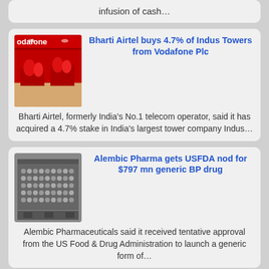infusion of cash…
Bharti Airtel buys 4.7% of Indus Towers from Vodafone Plc
Bharti Airtel, formerly India's No.1 telecom operator, said it has acquired a 4.7% stake in India's largest tower company Indus…
Alembic Pharma gets USFDA nod for $797 mn generic BP drug
Alembic Pharmaceuticals said it received tentative approval from the US Food & Drug Administration to launch a generic form of…